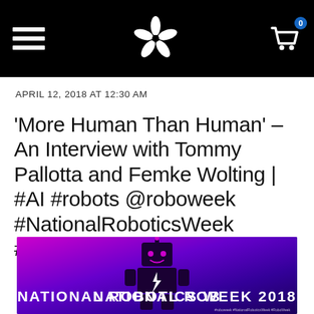Navigation header with hamburger menu, star logo, and cart icon with badge 0
APRIL 12, 2018 AT 12:30 AM
‘More Human Than Human’ – An Interview with Tommy Pallotta and Femke Wolting | #AI #robots @roboweek #NationalRoboticsWeek #RoboWeek
[Figure (illustration): National Robotics Week 2018 banner with purple/magenta gradient background, robot silhouette, and white bold text reading NATIONAL ROBOTICS WEEK 2018 with hashtags below]